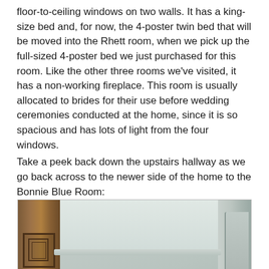floor-to-ceiling windows on two walls. It has a king-size bed and, for now, the 4-poster twin bed that will be moved into the Rhett room, when we pick up the full-sized 4-poster bed we just purchased for this room. Like the other three rooms we've visited, it has a non-working fireplace. This room is usually allocated to brides for their use before wedding ceremonies conducted at the home, since it is so spacious and has lots of light from the four windows.

Take a peek back down the upstairs hallway as we go back across to the newer side of the home to the Bonnie Blue Room:
[Figure (photo): Interior photo of an upstairs hallway looking toward the ceiling, showing a wooden post or furniture element on the left side with carved diamond detail, a light fixture hanging from the ceiling in the center, and decorative crown molding on the right. The ceiling and walls are painted a pale grayish-green color.]